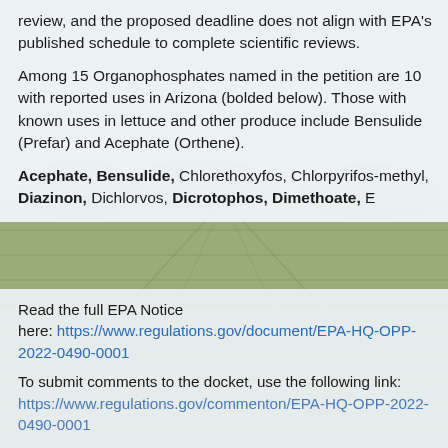review, and the proposed deadline does not align with EPA's published schedule to complete scientific reviews.
Among 15 Organophosphates named in the petition are 10 with reported uses in Arizona (bolded below). Those with known uses in lettuce and other produce include Bensulide (Prefar) and Acephate (Orthene).
Acephate, Bensulide, Chlorethoxyfos, Chlorpyrifos-methyl, Diazinon, Dichlorvos, Dicrotophos, Dimethoate, E...
Read the full EPA Notice here: https://www.regulations.gov/document/EPA-HQ-OPP-2022-0490-0001
To submit comments to the docket, use the following link: https://www.regulations.gov/commenton/EPA-HQ-OPP-2022-0490-0001